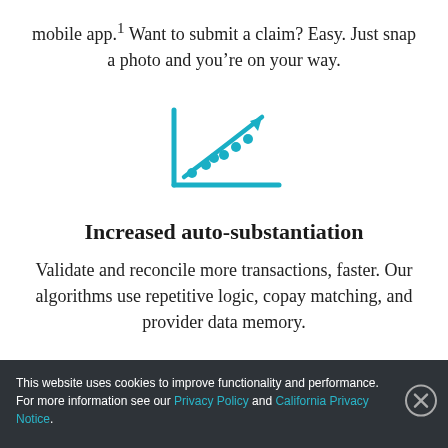mobile app.¹ Want to submit a claim? Easy. Just snap a photo and you’re on your way.
[Figure (illustration): Teal/cyan icon of a scatter-plot chart with an upward trending arrow, representing data analytics or auto-substantiation.]
Increased auto-substantiation
Validate and reconcile more transactions, faster. Our algorithms use repetitive logic, copay matching, and provider data memory.
This website uses cookies to improve functionality and performance. For more information see our Privacy Policy and California Privacy Notice.